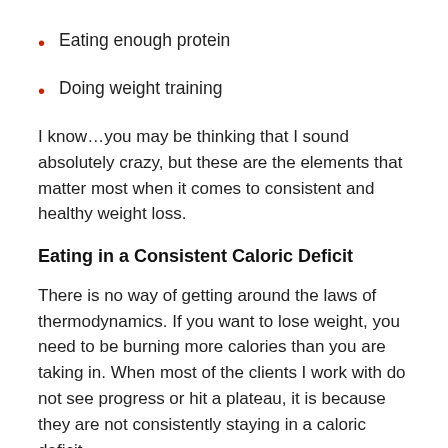Eating enough protein
Doing weight training
I know…you may be thinking that I sound absolutely crazy, but these are the elements that matter most when it comes to consistent and healthy weight loss.
Eating in a Consistent Caloric Deficit
There is no way of getting around the laws of thermodynamics. If you want to lose weight, you need to be burning more calories than you are taking in. When most of the clients I work with do not see progress or hit a plateau, it is because they are not consistently staying in a caloric deficit.